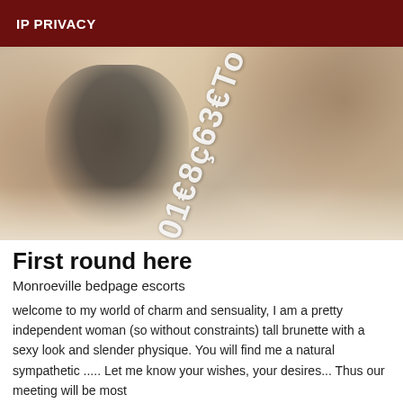IP PRIVACY
[Figure (photo): A woman in a black outfit posed on a sandy surface, with a watermark text overlay rotated diagonally reading '01€8ç63€To']
First round here
Monroeville bedpage escorts
welcome to my world of charm and sensuality, I am a pretty independent woman (so without constraints) tall brunette with a sexy look and slender physique. You will find me a natural sympathetic ..... Let me know your wishes, your desires... Thus our meeting will be most